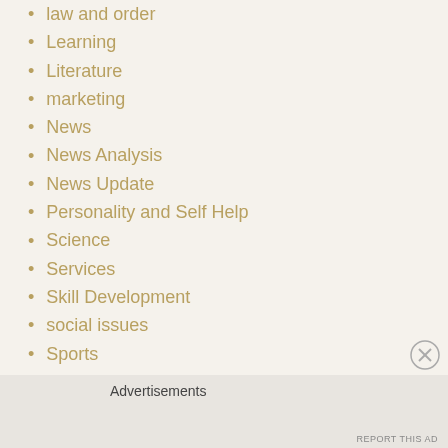law and order
Learning
Literature
marketing
News
News Analysis
News Update
Personality and Self Help
Science
Services
Skill Development
social issues
Sports
Tech
Technology
Training
Western
Advertisements
REPORT THIS AD